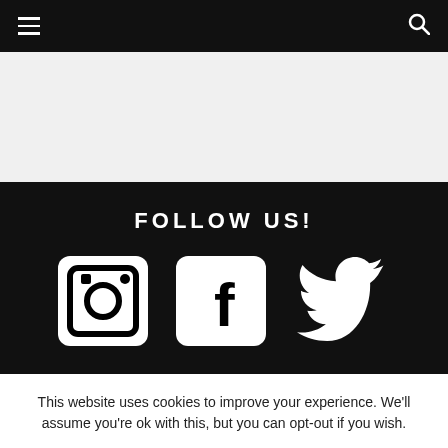Navigation bar with hamburger menu and search icon
[Figure (other): Gray placeholder content area]
FOLLOW US!
[Figure (other): Social media icons: Instagram, Facebook, Twitter on dark background]
This website uses cookies to improve your experience. We'll assume you're ok with this, but you can opt-out if you wish.
Cookie settings  ACCEPT